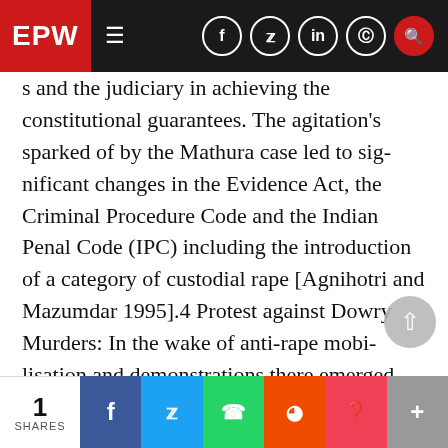EPW
s and the judiciary in achieving the constitutional guar-antees. The agitation's sparked of by the Mathura case led to sig-nificant changes in the Evidence Act, the Criminal Procedure Code and the Indian Penal Code (IPC) including the introduction of a category of custodial rape [Agnihotri and Mazumdar 1995].4 Protest against Dowry Murders: In the wake of anti-rape mobi-lisation and demonstrations there emerged the question of famil-ial atrocity of burning women for bringing in insufficient dowry. The Progressive Organisation of Women in Hyderabad made the first protests against dowry harassment, i e,
1 SHARES | Facebook | Twitter | WhatsApp | Reddit | Pocket | More